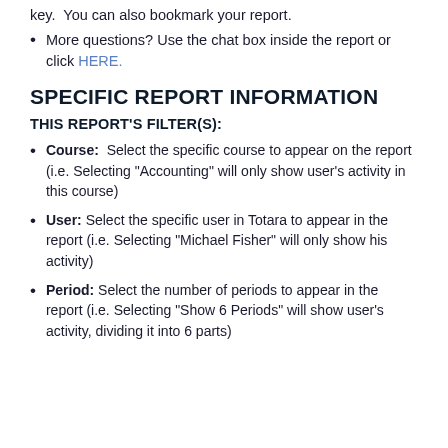key. You can also bookmark your report.
More questions? Use the chat box inside the report or click HERE.
SPECIFIC REPORT INFORMATION
THIS REPORT'S FILTER(S):
Course: Select the specific course to appear on the report (i.e. Selecting "Accounting" will only show user's activity in this course)
User: Select the specific user in Totara to appear in the report (i.e. Selecting "Michael Fisher" will only show his activity)
Period: Select the number of periods to appear in the report (i.e. Selecting "Show 6 Periods" will show user's activity, dividing it into 6 parts)